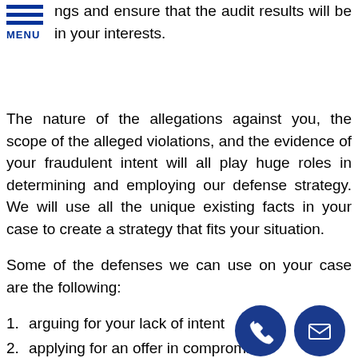ngs and ensure that the audit results will be in your interests.
The nature of the allegations against you, the scope of the alleged violations, and the evidence of your fraudulent intent will all play huge roles in determining and employing our defense strategy. We will use all the unique existing facts in your case to create a strategy that fits your situation.
Some of the defenses we can use on your case are the following:
1. arguing for your lack of intent
2. applying for an offer in compromise
3. requesting for a deferred prosecution agreement
4. employing statutory or constitutional protection
5. proving your compliance with federal tax laws
Tax Audit Legal Support
Your tax responsibilities are legal obligations th both